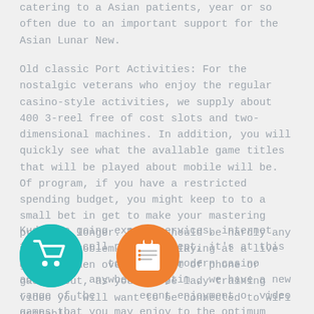catering to a Asian patients, year or so often due to an important support for the Asian Lunar New.
Old classic Port Activities: For the nostalgic veterans who enjoy the regular casino-style activities, we supply about 400 3-reel free of cost slots and two-dimensional machines. In addition, you will quickly see what the available game titles that will be played about mobile will be. Of program, if you have a restricted spending budget, you might keep to to a small bet in get to make your mastering practice longer. There should be hardly any nagging problem for you playing at a live gambling den over any sort of phone or gadget but, as you can be lady training video you will want to be connected to WiFi probably.
Kudos to going expert services, internet fast, and cell phone concept, it's at this moment simple to take up modern casino activities anywhere, anytime, we have a new range of the most recent enjoyment of video games that you may enjoy to the optimum degree. Both of these relevant queries
[Figure (illustration): Teal circular icon with a white shopping cart symbol]
[Figure (illustration): Orange circular icon with a white clipboard/list symbol]